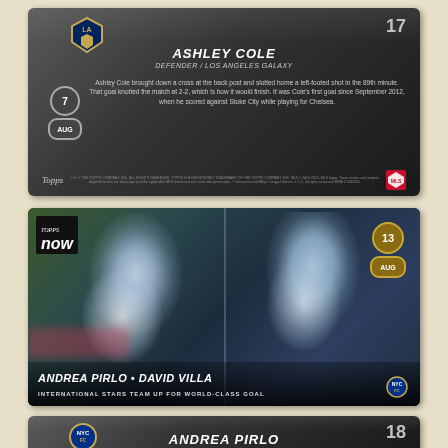[Figure (photo): Back of a Topps Now MLS trading card #17. Dark gray gradient background. LA Galaxy shield logo top left. Player name 'ASHLEY COLE' in bold italic white text, subtitle 'DEFENDER / LOS ANGELES GALAXY'. Date circles showing '7' and 'AUG' on left side. Body text describes Ashley Cole scoring a goal in the 89th minute to tie a match 2-2 on Aug 7. Topps logo bottom left, MLS logo bottom right, legal text in center.]
[Figure (photo): Front of a Topps Now MLS trading card showing Andrea Pirlo and David Villa in NYCFC blue kit. 'Topps NOW' logo top left. Date circles showing '13' and 'AUG' in gold/brown top right. Bottom banner reads 'ANDREA PIRLO • DAVID VILLA' and 'INTERNATIONAL STARS TEAM UP FOR WORLD-CLASS GOAL'. NYCFC badge bottom right.]
[Figure (photo): Partial view of back of Topps Now MLS trading card #18. Dark gray gradient background. NYCFC logo top left. Player name 'ANDREA PIRLO' visible in bold italic white text at bottom of visible area.]